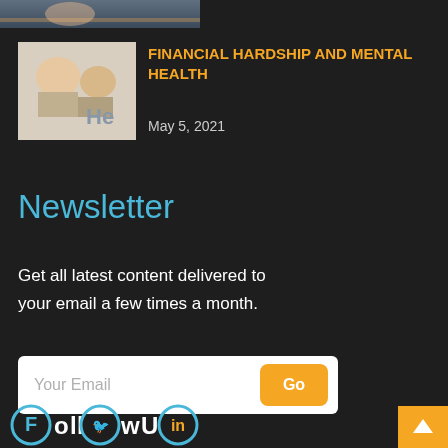[Figure (photo): Partial top banner image cropped at top of page]
[Figure (photo): Thumbnail image of people with heads in hands, appearing stressed, with 'He' text visible on a sign]
FINANCIAL HARDSHIP AND MENTAL HEALTH
May 5, 2021
Newsletter
Get all latest content delivered to your email a few times a month.
Your Email    Go
[Figure (logo): Follow Us social media logo with Twitter and LinkedIn icons in teal/yellow circle design]